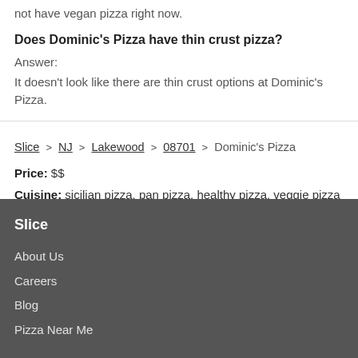not have vegan pizza right now.
Does Dominic's Pizza have thin crust pizza?
Answer:
It doesn't look like there are thin crust options at Dominic's Pizza.
Slice > NJ > Lakewood > 08701 > Dominic's Pizza
Price: $$
Cuisine: sicilian pizza, pan pizza, healthy pizza, veggie pizza
Slice
About Us
Careers
Blog
Pizza Near Me